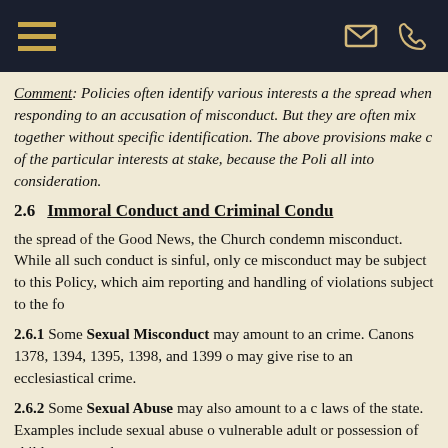Navigation header with hamburger menu and contact icons
Comment: Policies often identify various interests at stake when responding to an accusation of misconduct. But they are often mixed together without specific identification. The above provisions make clear the significance of the particular interests at stake, because the Policy must take them all into consideration.
2.6  Immoral Conduct and Criminal Conduct
the spread of the Good News, the Church condemns misconduct. While all such conduct is sinful, only certain misconduct may be subject to this Policy, which aims at the reporting and handling of violations subject to the fo
2.6.1  Some Sexual Misconduct may amount to an ecclesiastical crime. Canons 1378, 1394, 1395, 1398, and 1399 of may give rise to an ecclesiastical crime.
2.6.2  Some Sexual Abuse may also amount to a crime under the laws of the state. Examples include sexual abuse of a vulnerable adult or possession of child pornography